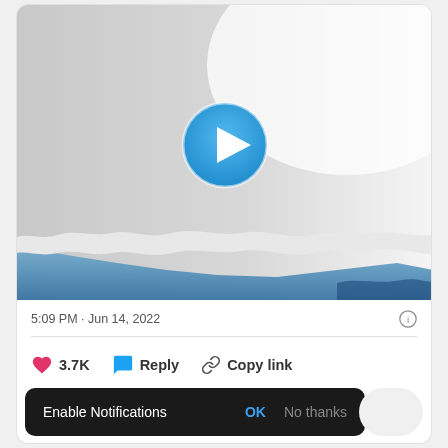[Figure (screenshot): Video thumbnail showing a torn paper edge revealing blue sky/water beneath a gray surface, with a blue circular play button in the center.]
5:09 PM · Jun 14, 2022
❤ 3.7K   💬 Reply   🔗 Copy link
Enable Notifications   OK   No thanks